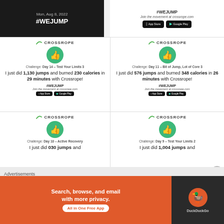[Figure (screenshot): Dark background card showing Mon, Aug 8, 2022 and #WEJUMP]
#WEJUMP
Join the movement at crossrope.com
App Store | Google Play
[Figure (screenshot): Crossrope card: Challenge Day 14 - Test Your Limits 3. I just did 1,130 jumps and burned 230 calories in 29 minutes with Crossrope! #WEJUMP]
[Figure (screenshot): Crossrope card: Challenge Day 11 - Bit of Jump, Lot of Core 3. I just did 576 jumps and burned 348 calories in 26 minutes with Crossrope! #WEJUMP]
[Figure (screenshot): Crossrope card: Challenge Day 10 - Active Recovery. I just did 030 jumps and... (partial)]
[Figure (screenshot): Crossrope card: Challenge Day 9 - Test Your Limits 2. I just did 1,004 jumps and... (partial)]
Advertisements
[Figure (infographic): DuckDuckGo ad: Search, browse, and email with more privacy. All in One Free App]